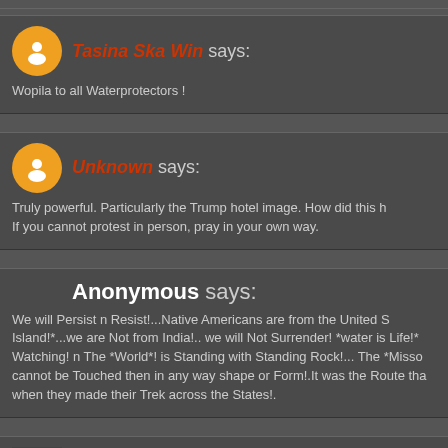Tasina Ska Win says:
Wopila to all Waterprotectors !
Unknown says:
Truly powerful. Particularly the Trump hotel image. How did this h If you cannot protest in person, pray in your own way.
Anonymous says:
We will Persist n Resist!...Native Americans are from the United S Island!*...we are Not from India!.. we will Not Surrender! *water is Life!* Watching! n The *World*! is Standing with Standing Rock!... The *Misso cannot be Touched then in any way shape or Form!.It was the Route tha when they made their Trek across the States!.
medicineturtle says:
The Native Nations March, organized by the Standing Rock Siou